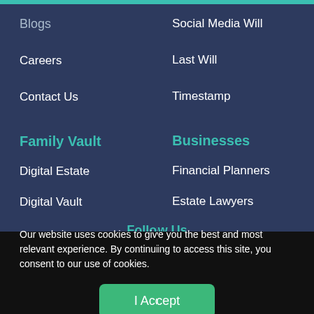Blogs
Careers
Contact Us
Family Vault
Digital Estate
Digital Vault
Time Capsule
Social Media Will
Last Will
Timestamp
Businesses
Financial Planners
Estate Lawyers
Senior Care
Follow Us
Our website uses cookies to give you the best and most relevant experience. By continuing to access this site, you consent to our use of cookies.
I Accept